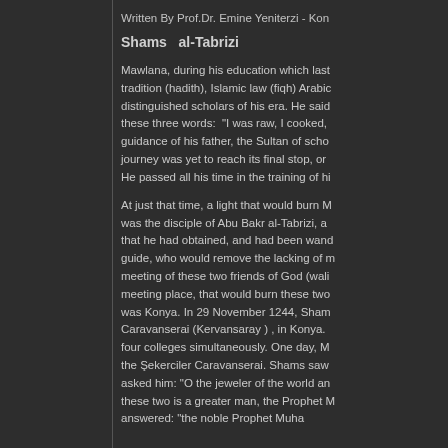Written By Prof.Dr. Emine Yeniterzi - Kon
Shams   al-Tabrizi
Mawlana, during his education which last tradition (hadith), Islamic law (fiqh) Arabic distinguished scholars of his era. He said these three words: “I was raw, I cooked, guidance of his father, the Sultan of scho journey was yet to reach its final stop, or He passed all his time in the training of hi
At just that time, a light that would burn M was the disciple of Abu Bakr al-Tabrizi, a that he had obtained, and had been wand guide, who would remove the lacking of m meeting of these two friends of God (wali meeting place, that would burn these two was Konya. In 29 November 1244, Sham Caravanserai (Kervansaray ) , in Konya. four colleges simultaneously. One day, M the Şekerciler Caravanserai. Shams saw asked him: “O the jeweler of the world an these two is a greater man, the Prophet M answered: “the noble Prophet Muha